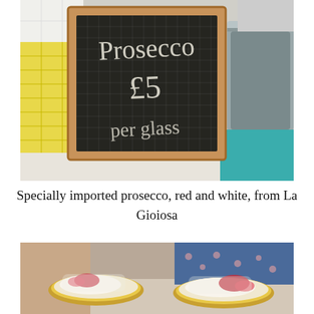[Figure (photo): A chalkboard sign on a wooden frame reading 'Prosecco £5 per glass' in cursive white chalk. To the left is a yellow/white tiled surface, to the right a large metal pot/bucket. Background shows people and colorful items.]
Specially imported prosecco, red and white, from La Gioiosa
[Figure (photo): Close-up of two gold/metal bowls or tins filled with what appears to be ice cream or dessert topped with red fruit or berries, held by people. A person in a floral top is visible in the background.]